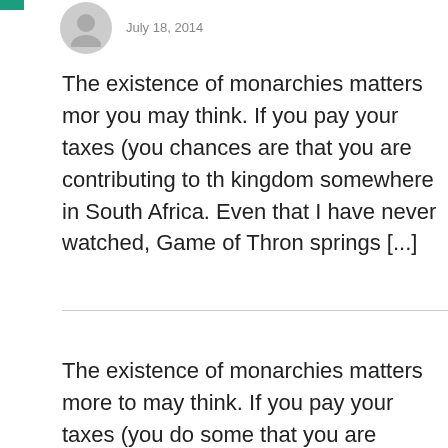July 18, 2014
The existence of monarchies matters more you may think. If you pay your taxes (you chances are that you are contributing to th kingdom somewhere in South Africa. Even that I have never watched, Game of Thron springs [...]
The existence of monarchies matters more to may think. If you pay your taxes (you do some that you are contributing to the upkeep of a k South Africa...